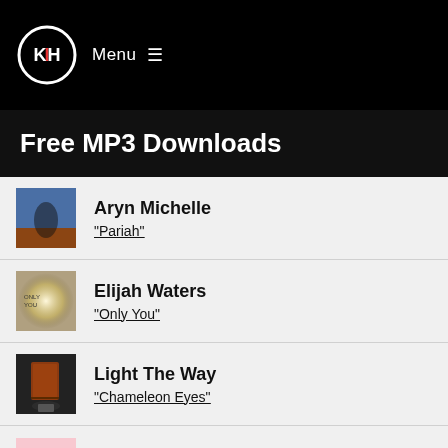Menu
Free MP3 Downloads
Aryn Michelle – "Pariah"
Elijah Waters – "Only You"
Light The Way – "Chameleon Eyes"
Clare Bell – "Hiraeth"